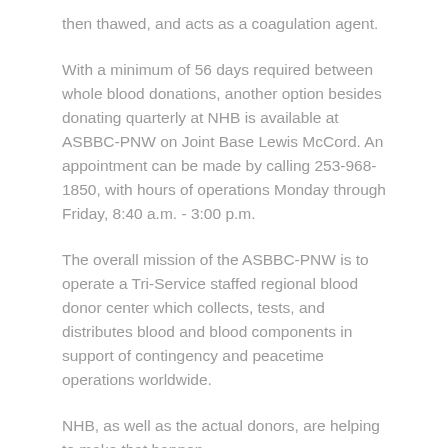then thawed, and acts as a coagulation agent.
With a minimum of 56 days required between whole blood donations, another option besides donating quarterly at NHB is available at ASBBC-PNW on Joint Base Lewis McCord. An appointment can be made by calling 253-968-1850, with hours of operations Monday through Friday, 8:40 a.m. - 3:00 p.m.
The overall mission of the ASBBC-PNW is to operate a Tri-Service staffed regional blood donor center which collects, tests, and distributes blood and blood components in support of contingency and peacetime operations worldwide.
NHB, as well as the actual donors, are helping to make that happen.
One unit at a time.
NEWS INFO